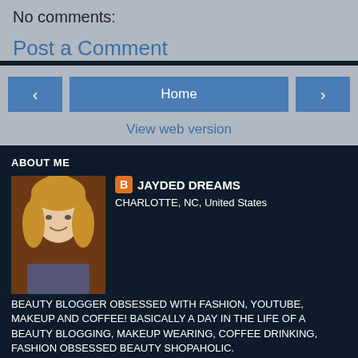No comments:
Post a Comment
Home
View web version
ABOUT ME
[Figure (photo): Profile photo of a woman with blonde hair smiling]
JAYDED DREAMS
CHARLOTTE, NC, United States
BEAUTY BLOGGER OBSESSED WITH FASHION, YOUTUBE, MAKEUP AND COFFEE! BASICALLY A DAY IN THE LIFE OF A BEAUTY BLOGGING, MAKEUP WEARING, COFFEE DRINKING, FASHION OBSESSED BEAUTY SHOPAHOLIC.
View my complete profile
Powered by Blogger.